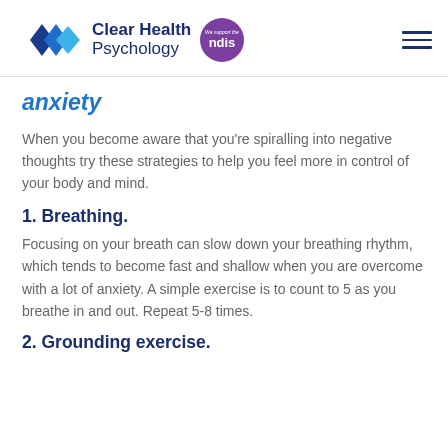Clear Health Psychology | ndis
anxiety
When you become aware that you're spiralling into negative thoughts try these strategies to help you feel more in control of your body and mind.
1. Breathing.
Focusing on your breath can slow down your breathing rhythm, which tends to become fast and shallow when you are overcome with a lot of anxiety. A simple exercise is to count to 5 as you breathe in and out. Repeat 5-8 times.
2. Grounding exercise.